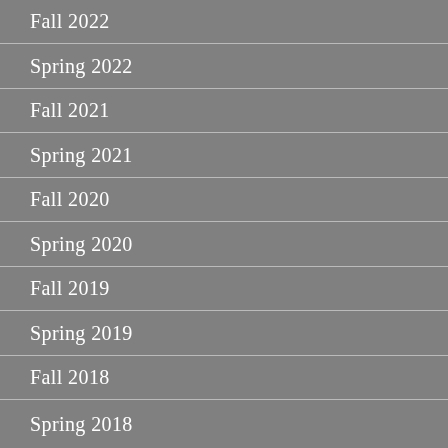Fall 2022
Spring 2022
Fall 2021
Spring 2021
Fall 2020
Spring 2020
Fall 2019
Spring 2019
Fall 2018
Spring 2018